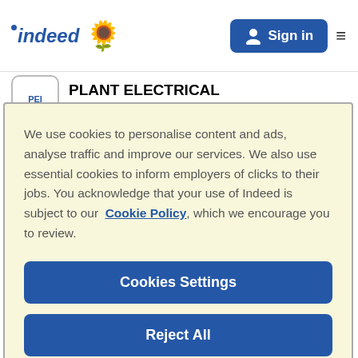[Figure (logo): Indeed logo with italic text and blue dot, sunflower emoji, Sign in button, hamburger menu]
PLANT ELECTRICAL INSTRUMENTATION
We use cookies to personalise content and ads, analyse traffic and improve our services. We also use essential cookies to inform employers of clicks to their jobs. You acknowledge that your use of Indeed is subject to our Cookie Policy, which we encourage you to review.
Cookies Settings
Reject All
Accept All Cookies